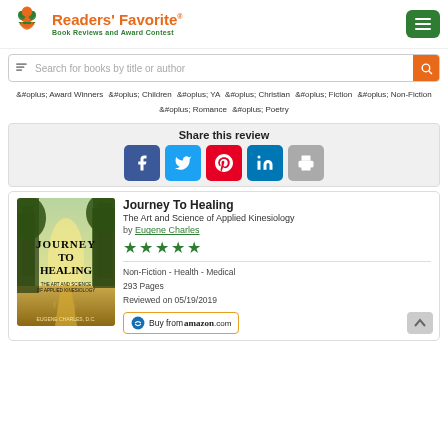Readers' Favorite - Book Reviews and Award Contest
Search for books by title or author
Award Winners  Children  YA  Christian  Fiction  Non-Fiction  Romance  Poetry
Share this review
[Figure (screenshot): Social share buttons: Facebook, Twitter, Pinterest, LinkedIn, Print]
[Figure (photo): Book cover for Journey To Healing by Eugene Charles D.C.]
Journey To Healing
The Art and Science of Applied Kinesiology
by Eugene Charles
5 star rating
Non-Fiction - Health - Medical
293 Pages
Reviewed on 05/19/2019
Buy from amazon.com